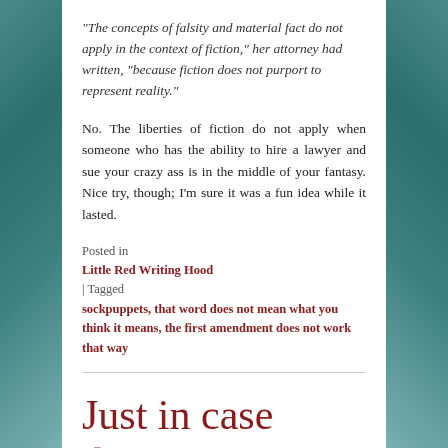“The concepts of falsity and material fact do not apply in the context of fiction,” her attorney had written, “because fiction does not purport to represent reality.”
No. The liberties of fiction do not apply when someone who has the ability to hire a lawyer and sue your crazy ass is in the middle of your fantasy. Nice try, though; I’m sure it was a fun idea while it lasted.
Posted in Little Red Writing Hood | Tagged sockpuppets, that word does not mean what you think it means, the first amendment does not work that way
Just in case those nasty pro-aborts might get ideas